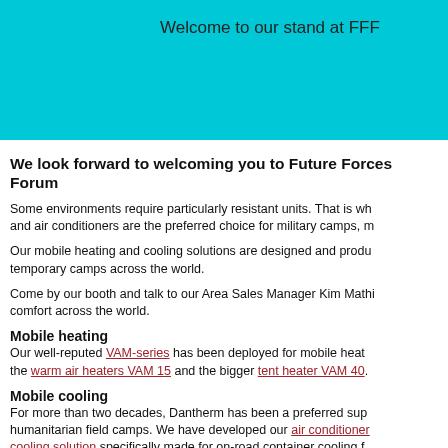Welcome to our stand at FFF
We look forward to welcoming you to Future Forces Forum
Some environments require particularly resistant units. That is why our heaters and air conditioners are the preferred choice for military camps, m...
Our mobile heating and cooling solutions are designed and produced for temporary camps across the world.
Come by our booth and talk to our Area Sales Manager Kim Mathiassen about comfort across the world.
Mobile heating
Our well-reputed VAM-series has been deployed for mobile heating, including the warm air heaters VAM 15 and the bigger tent heater VAM 40.
Mobile cooling
For more than two decades, Dantherm has been a preferred supplier for humanitarian field camps. We have developed our air conditioner cooling solution specifically made for on-road container cooling f...
For any questions, do not hesitate to contact Kim Mathiassen on e...
We look forward to meeting you.